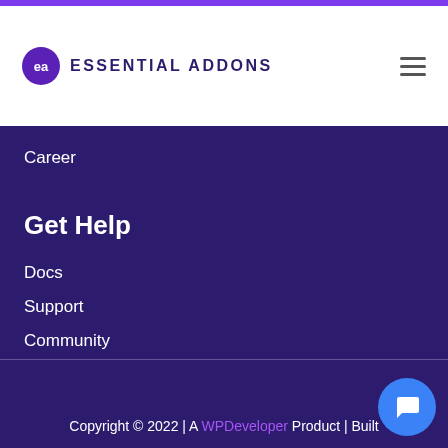Essential Addons
Career
Get Help
Docs
Support
Community
Submit Request
Copyright © 2022 | A WPDeveloper Product | Built